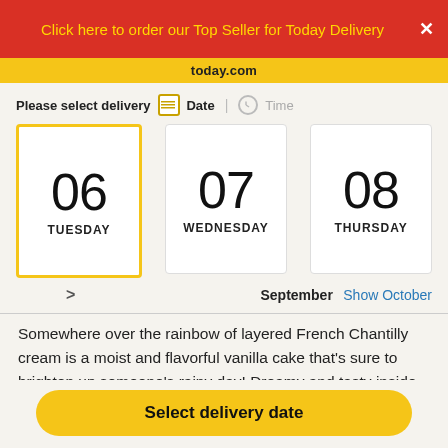Click here to order our Top Seller for Today Delivery
today.com
Please select delivery  Date  |  Time
[Figure (other): Date selector showing three day cards: 06 TUESDAY (selected, yellow border), 07 WEDNESDAY, 08 THURSDAY. Below shows navigation arrow '>' on left and 'September Show October' on right.]
Somewhere over the rainbow of layered French Chantilly cream is a moist and flavorful vanilla cake that's sure to brighten up someone's rainy day! Dreamy and tasty inside out,
Select delivery date